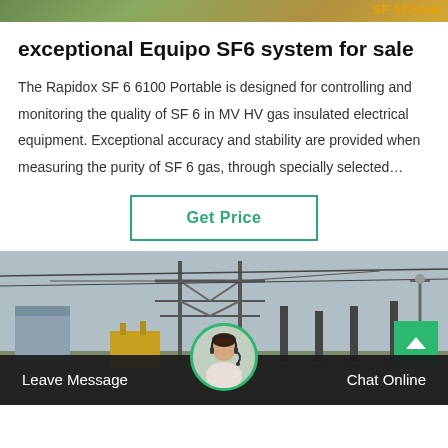[Figure (photo): Top banner image with golden/green tones showing outdoor scene, with orange text 'SF 6China' at top right]
exceptional Equipo SF6 system for sale
The Rapidox SF 6 6100 Portable is designed for controlling and monitoring the quality of SF 6 in MV HV gas insulated electrical equipment. Exceptional accuracy and stability are provided when measuring the purity of SF 6 gas, through specially selected…
[Figure (screenshot): Green-bordered 'Get Price' button centered on white background]
[Figure (photo): Electrical substation with metal transmission towers, wires and industrial structures under overcast sky. Green scroll-to-top button in bottom right. Bottom bar with 'Leave Message', customer service avatar, and 'Chat Online' buttons.]